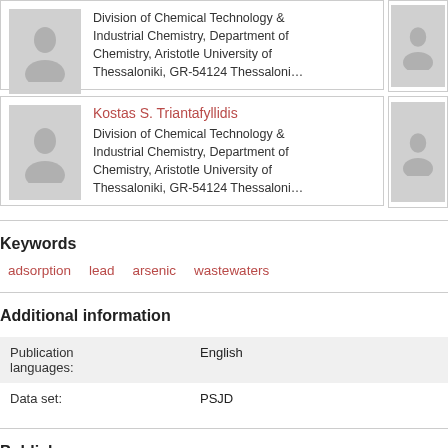[Figure (other): Author card with photo placeholder and affiliation: Division of Chemical Technology & Industrial Chemistry, Department of Chemistry, Aristotle University of Thessaloniki, GR-54124 Thessaloni...]
[Figure (other): Partial right author card photo placeholder]
[Figure (other): Author card for Kostas S. Triantafyllidis with photo placeholder and affiliation: Division of Chemical Technology & Industrial Chemistry, Department of Chemistry, Aristotle University of Thessaloniki, GR-54124 Thessaloni...]
[Figure (other): Partial right author card photo placeholder]
Keywords
adsorption
lead
arsenic
wastewaters
Additional information
| Publication languages: | English |
| Data set: | PSJD |
Publisher